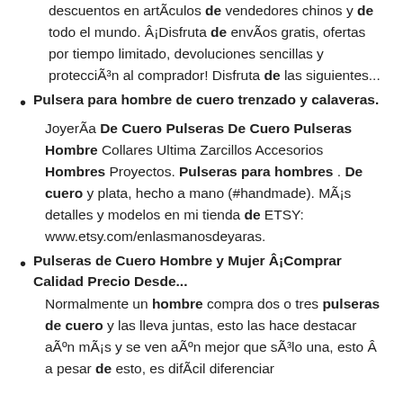descuentos en artÃculos de vendedores chinos y de todo el mundo. Â¡Disfruta de envÃos gratis, ofertas por tiempo limitado, devoluciones sencillas y protecciÃ³n al comprador! Disfruta de las siguientes...
Pulsera para hombre de cuero trenzado y calaveras.
JoyerÃa De Cuero Pulseras De Cuero Pulseras Hombre Collares Ultima Zarcillos Accesorios Hombres Proyectos. Pulseras para hombres . De cuero y plata, hecho a mano (#handmade). MÃ¡s detalles y modelos en mi tienda de ETSY: www.etsy.com/enlasmanosdeyaras.
Pulseras de Cuero Hombre y Mujer Â¡Comprar Calidad Precio Desde...
Normalmente un hombre compra dos o tres pulseras de cuero y las lleva juntas, esto las hace destacar aÃºn mÃ¡s y se ven aÃºn mejor que sÃ³lo una, esto Â a pesar de esto, es difÃcil diferenciar